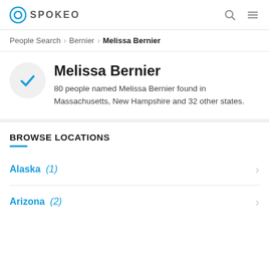SPOKEO
People Search > Bernier > Melissa Bernier
Melissa Bernier
80 people named Melissa Bernier found in Massachusetts, New Hampshire and 32 other states.
BROWSE LOCATIONS
Alaska (1)
Arizona (2)